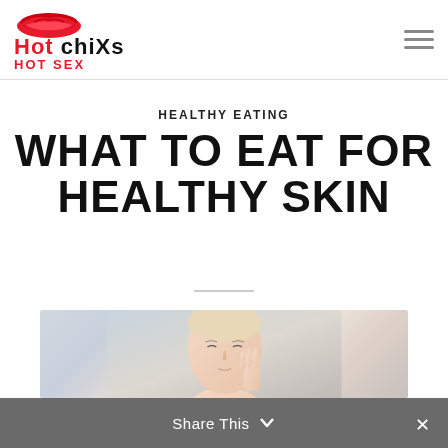HOT CHIXS HOT SEX
HEALTHY EATING
WHAT TO EAT FOR HEALTHY SKIN
[Figure (photo): Woman with clear glowing skin touching her face against a light grey background]
Share This